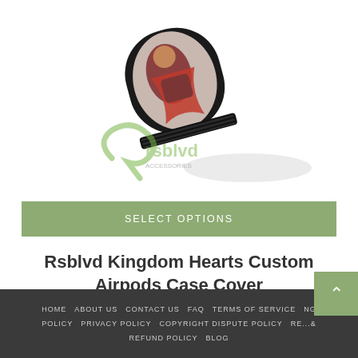[Figure (photo): Product photo of an Airpods case with Kingdom Hearts anime character artwork (red-cloaked figure), black case with ridged hinge, displayed against a white background. Rsblvd watermark logo visible.]
SELECT OPTIONS
Rsblvd Kingdom Hearts Custom Airpods Case Cover
$32.00
HOME  ABOUT US  CONTACT US  FAQ  TERMS OF SERVICE  NG POLICY  PRIVACY POLICY  COPYRIGHT DISPUTE POLICY  RE...&  REFUND POLICY  BLOG